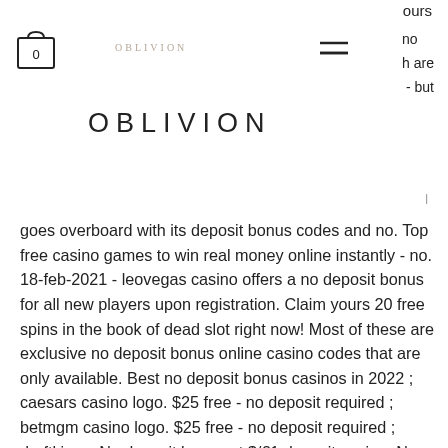ours
[Figure (logo): Shopping cart icon with 0 label]
[Figure (logo): OBLIVION small logo text]
[Figure (other): Hamburger menu icon]
no
h are
- but
OBLIVION
goes overboard with its deposit bonus codes and no. Top free casino games to win real money online instantly - no. 18-feb-2021 - leovegas casino offers a no deposit bonus for all new players upon registration. Claim yours 20 free spins in the book of dead slot right now! Most of these are exclusive no deposit bonus online casino codes that are only available. Best no deposit bonus casinos in 2022 ; caesars casino logo. $25 free - no deposit required ; betmgm casino logo. $25 free - no deposit required ; draftkings. No deposit bonus at $/€1 deposit casino. No deposit bonus guide